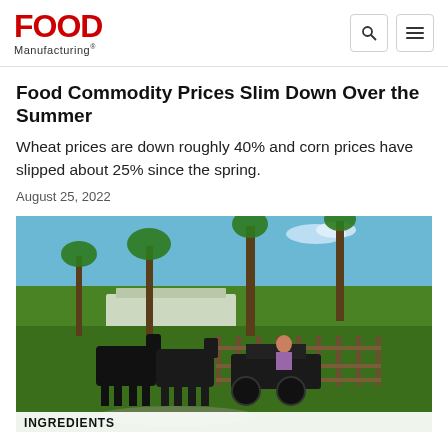Food Manufacturing
Food Commodity Prices Slim Down Over the Summer
Wheat prices are down roughly 40% and corn prices have slipped about 25% since the spring.
August 25, 2022
[Figure (photo): A person riding a horse-drawn cart on a farm with palm trees and greenhouse structures in the background, bright sunny day.]
INGREDIENTS